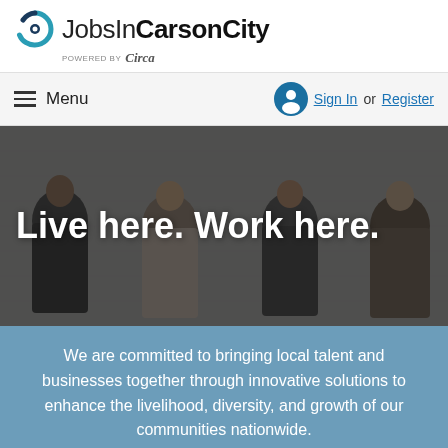[Figure (logo): JobsInCarsonCity logo with circular teal/blue icon and text, powered by Circa]
≡ Menu  Sign In or Register
[Figure (photo): Four professionally dressed people sitting against a white brick wall, smiling. Overlay text reads: Live here. Work here.]
We are committed to bringing local talent and businesses together through innovative solutions to enhance the livelihood, diversity, and growth of our communities nationwide.